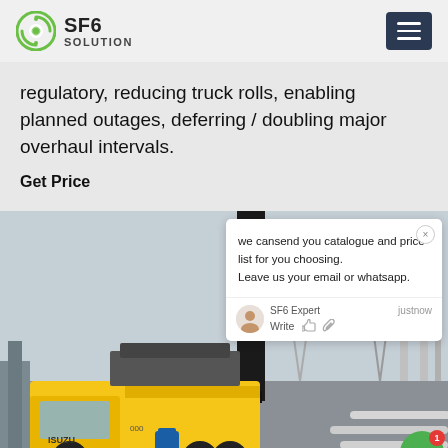SF6 SOLUTION
regulatory, reducing truck rolls, enabling planned outages, deferring / doubling major overhaul intervals.
Get Price
[Figure (photo): Yellow service truck at an electrical substation with transmission towers and high-voltage equipment in the background. Overcast sky.]
we cansend you catalogue and price list for you choosing. Leave us your email or whatsapp.
SF6 Expert   justnow
Write